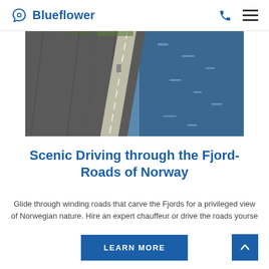Blueflower
[Figure (photo): Aerial view of a narrow road carved into rocky coastal cliffs alongside dark blue water in Norway]
Scenic Driving through the Fjord-Roads of Norway
Glide through winding roads that carve the Fjords for a privileged view of Norwegian nature. Hire an expert chauffeur or drive the roads yourself.